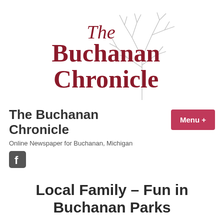[Figure (logo): The Buchanan Chronicle logo with stylized serif text and a bare winter tree graphic in gray]
The Buchanan Chronicle
Online Newspaper for Buchanan, Michigan
[Figure (logo): Facebook icon (f logo)]
Local Family – Fun in Buchanan Parks